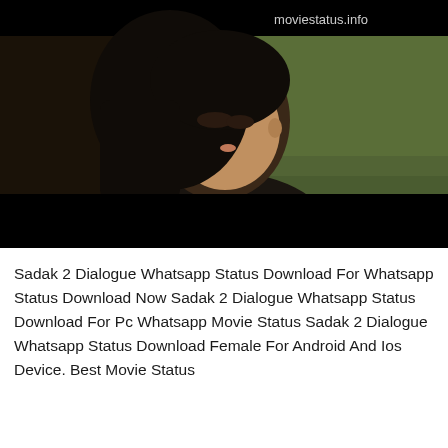[Figure (photo): A video still from Sadak 2 showing a young woman with dark hair looking to the side near a window, with a dark/black letterbox border at top and bottom. The watermark 'moviestatus.info' appears in white text on the dark top bar.]
Sadak 2 Dialogue Whatsapp Status Download For Whatsapp Status Download Now Sadak 2 Dialogue Whatsapp Status Download For Pc Whatsapp Movie Status Sadak 2 Dialogue Whatsapp Status Download Female For Android And Ios Device. Best Movie Status